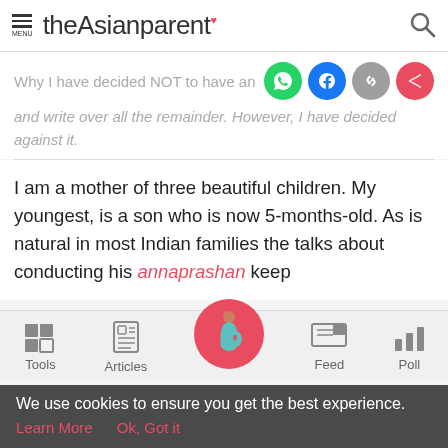theAsianparent
Why I have decided NOT to have an A...
and write over all the remainder. However, I have decided against it.
I am a mother of three beautiful children. My youngest, is a son who is now 5-months-old. As is natural in most Indian families the talks about conducting his annaprashan keep
Tools  Articles  Feed  Poll
We use cookies to ensure you get the best experience.
Learn More   Ok, Got it